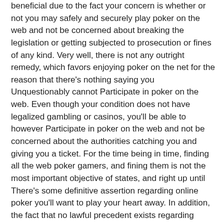beneficial due to the fact your concern is whether or not you may safely and securely play poker on the web and not be concerned about breaking the legislation or getting subjected to prosecution or fines of any kind. Very well, there is not any outright remedy, which favors enjoying poker on the net for the reason that there's nothing saying you Unquestionably cannot Participate in poker on the web. Even though your condition does not have legalized gambling or casinos, you'll be able to however Participate in poker on the web and not be concerned about the authorities catching you and giving you a ticket. For the time being in time, finding all the web poker gamers, and fining them is not the most important objective of states, and right up until There's some definitive assertion regarding online poker you'll want to play your heart away. In addition, the fact that no lawful precedent exists regarding online poker implies you truly have nothing to worry about.